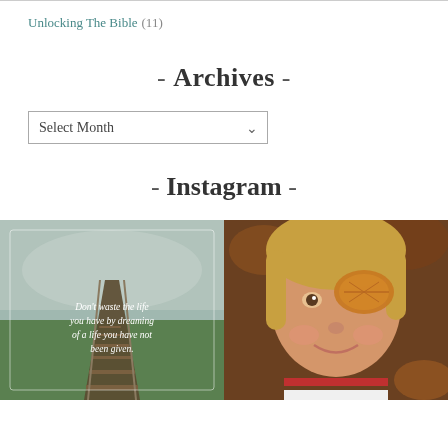Unlocking The Bible (11)
- Archives -
Select Month
- Instagram -
[Figure (photo): Instagram image 1: railway track leading into misty distance with green fields, overlaid with white text quote: 'Don't waste the life you have by dreaming of a life you have not been given.']
[Figure (photo): Instagram image 2: close-up of a young girl with blonde hair smiling, holding an autumn leaf up near her face, with fallen leaves in background.]